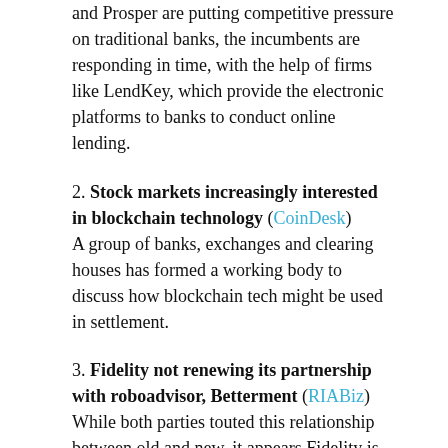and Prosper are putting competitive pressure on traditional banks, the incumbents are responding in time, with the help of firms like LendKey, which provide the electronic platforms to banks to conduct online lending.
2. Stock markets increasingly interested in blockchain technology (CoinDesk) A group of banks, exchanges and clearing houses has formed a working body to discuss how blockchain tech might be used in settlement.
3. Fidelity not renewing its partnership with roboadvisor, Betterment (RIABiz) While both parties touted this relationship between old and new, it appears Fidelity is close to launching its own version of an automated advisory platform that it's built in house.
4. MIT launches its first graduate fintech